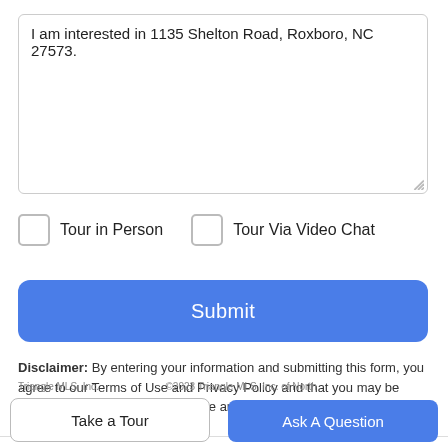I am interested in 1135 Shelton Road, Roxboro, NC 27573.
Tour in Person
Tour Via Video Chat
Submit
Disclaimer: By entering your information and submitting this form, you agree to our Terms of Use and Privacy Policy and that you may be contacted by phone, text message and email about your inquiry.
Triangle MLS, Inc. | ©2023 Triangle MLS, Inc. of North...
Take a Tour
Ask A Question